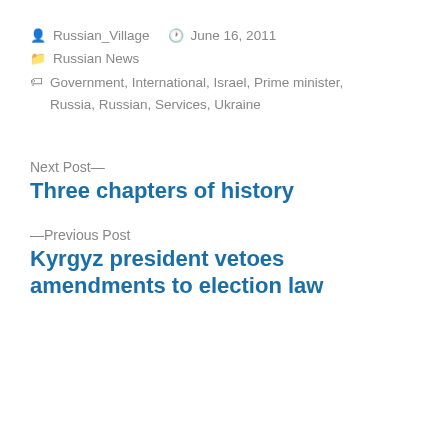Russian_Village   June 16, 2011
Russian News
Government, International, Israel, Prime minister, Russia, Russian, Services, Ukraine
Next Post—
Three chapters of history
—Previous Post
Kyrgyz president vetoes amendments to election law